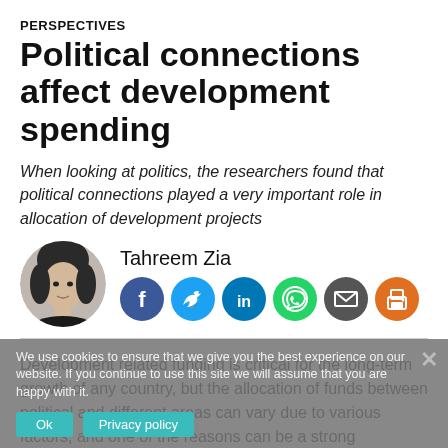PERSPECTIVES
Political connections affect development spending
When looking at politics, the researchers found that political connections played a very important role in allocation of development projects
[Figure (photo): Headshot photo of Tahreem Zia, grayscale portrait]
Tahreem Zia
[Figure (infographic): Row of social media sharing icons: Facebook, Twitter, LinkedIn, WhatsApp, Email, Print]
Development related funding is critical for the long-term growth of any country, but the allocation of funds between political and different areas can vary due to various factors, and one of the reasons can be a strong connection of politicians with those
We use cookies to ensure that we give you the best experience on our website. If you continue to use this site we will assume that you are happy with it.